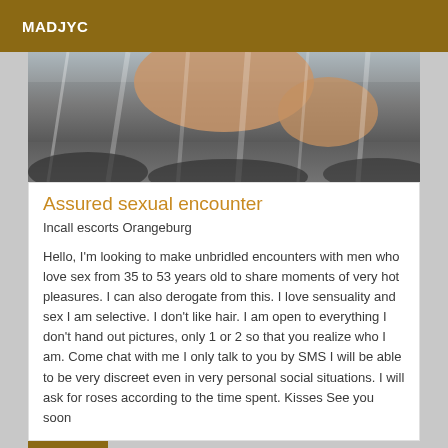MADJYC
[Figure (photo): Photo of a person near a waterfall, partial body visible against rushing water and rocks]
Assured sexual encounter
Incall escorts Orangeburg
Hello, I'm looking to make unbridled encounters with men who love sex from 35 to 53 years old to share moments of very hot pleasures. I can also derogate from this. I love sensuality and sex I am selective. I don't like hair. I am open to everything I don't hand out pictures, only 1 or 2 so that you realize who I am. Come chat with me I only talk to you by SMS I will be able to be very discreet even in very personal social situations. I will ask for roses according to the time spent. Kisses See you soon